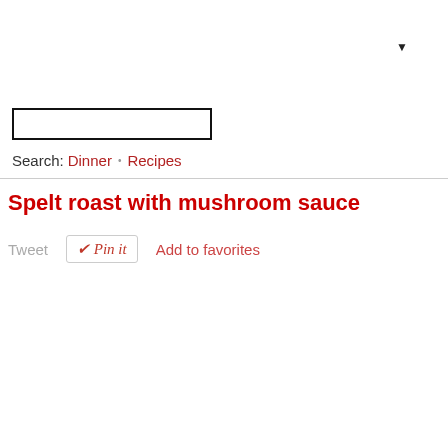[Figure (other): Dropdown arrow indicator (small filled triangle) in upper right area]
[Figure (other): Search input box with black border, empty text field]
Search: Dinner • Recipes
Spelt roast with mushroom sauce
Tweet  Pin it  Add to favorites